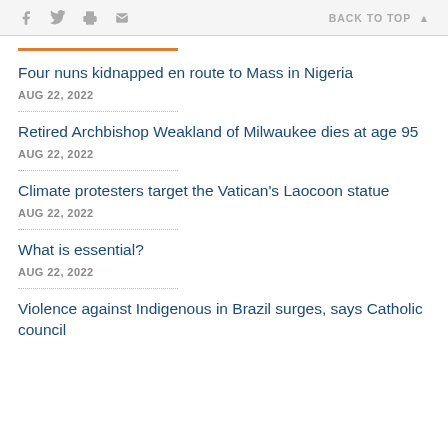f  🐦  🖨  ✉  BACK TO TOP ▲
Four nuns kidnapped en route to Mass in Nigeria
AUG 22, 2022
Retired Archbishop Weakland of Milwaukee dies at age 95
AUG 22, 2022
Climate protesters target the Vatican's Laocoon statue
AUG 22, 2022
What is essential?
AUG 22, 2022
Violence against Indigenous in Brazil surges, says Catholic council